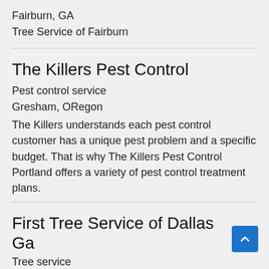Fairburn, GA
Tree Service of Fairburn
The Killers Pest Control
Pest control service
Gresham, ORegon
The Killers understands each pest control customer has a unique pest problem and a specific budget. That is why The Killers Pest Control Portland offers a variety of pest control treatment plans.
First Tree Service of Dallas Ga